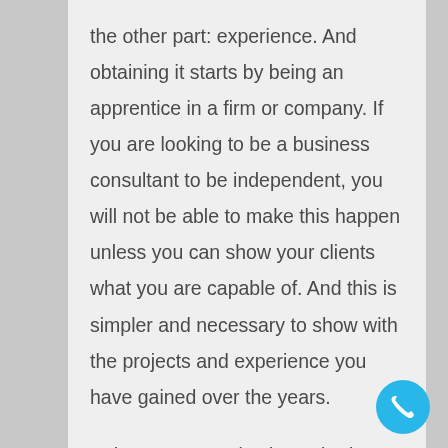the other part: experience. And obtaining it starts by being an apprentice in a firm or company. If you are looking to be a business consultant to be independent, you will not be able to make this happen unless you can show your clients what you are capable of. And this is simpler and necessary to show with the projects and experience you have gained over the years.
Being an apprentice is not bad either. You will learn and get familiar with how the business works and what you can do to complement all the knowledge and skills you have obtained with